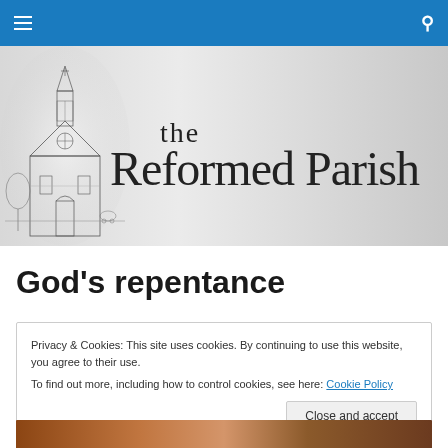Navigation bar with hamburger menu and search icon
[Figure (illustration): The Reformed Parish website header banner with a vintage black-and-white illustration of a church building on the left, and the text 'the Reformed Parish' in serif font on a light gray gradient background]
God’s repentance
Privacy & Cookies: This site uses cookies. By continuing to use this website, you agree to their use.
To find out more, including how to control cookies, see here: Cookie Policy
Close and accept